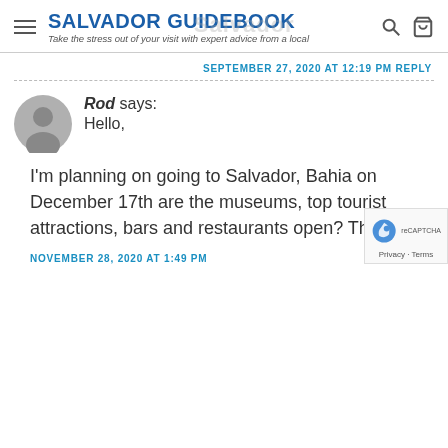SALVADOR GUIDEBOOK — Take the stress out of your visit with expert advice from a local
SEPTEMBER 27, 2020 AT 12:19 PM REPLY
Rod says:
Hello,

I'm planning on going to Salvador, Bahia on December 17th are the museums, top tourist attractions, bars and restaurants open? Thank you.
NOVEMBER 28, 2020 AT 1:49 PM